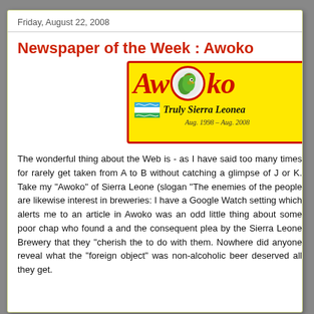Friday, August 22, 2008
Newspaper of the Week : Awoko
[Figure (logo): Awoko newspaper logo on yellow background with red border. Features stylized italic red text 'Awoko' with a parrot illustration. Tagline reads 'Truly Sierra Leonean' with Sierra Leone flag waves. Date range 'Aug. 1998 - Aug. 2008']
The wonderful thing about the Web is - as I have said too many times for rarely get taken from A to B without catching a glimpse of J or K. Take my "Awoko" of Sierra Leone (slogan "The enemies of the people are likewise interest in breweries: I have a Google Watch setting which alerts me to an article in Awoko was an odd little thing about some poor chap who found a and the consequent plea by the Sierra Leone Brewery that they "cherish the to do with them. Nowhere did anyone reveal what the "foreign object" was non-alcoholic beer deserved all they get.